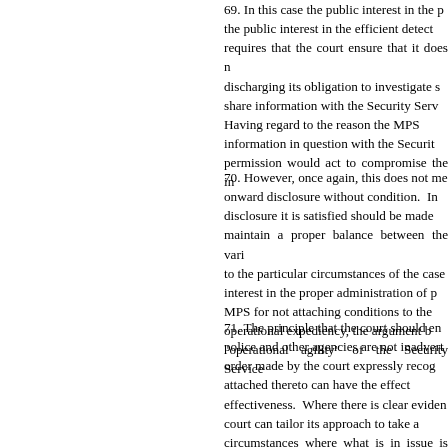69. In this case the public interest in the p... the public interest in the efficient detect... requires that the court ensure that it does n... discharging its obligation to investigate s... share information with the Security Serv... Having regard to the reason the MPS ... information in question with the Securit... permission would act to compromise the in...
70. However, once again, this does not me... onward disclosure without condition. In ... disclosure it is satisfied should be made ... maintain a proper balance between the vari... to the particular circumstances of the case... interest in the proper administration of p... MPS for not attaching conditions to th... operational expediency, the argument b... "operational agility" of the Security Service...
71. The principle that the court should en... police and other agencies are not inadvertent... order made by the court expressly recog... attached thereto can have the effect ... effectiveness. Where there is clear eviden... court can tailor its approach to take a... circumstances where what is in issue is the... highly sensitive, material, the court will ... impact of refusing disclosure or imp... inconvenience. The mere fact that an agen...